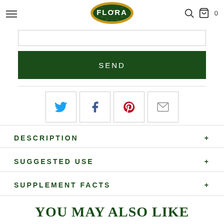FLORA
[Figure (screenshot): Input text field (empty)]
[Figure (screenshot): SEND button in dark green]
[Figure (screenshot): Social sharing icons: Twitter, Facebook, Pinterest, Email]
DESCRIPTION
SUGGESTED USE
SUPPLEMENT FACTS
YOU MAY ALSO LIKE